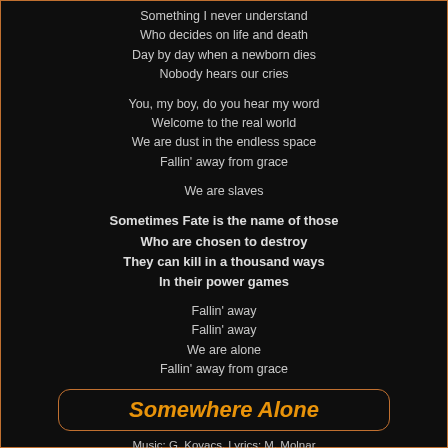Something I never understand
Who decides on life and death
Day by day when a newborn dies
Nobody hears our cries
You, my boy, do you hear my word
Welcome to the real world
We are dust in the endless space
Fallin' away from grace
We are slaves
Sometimes Fate is the name of those
Who are chosen to destroy
They can kill in a thousand ways
In their power games
Fallin' away
Fallin' away
We are alone
Fallin' away from grace
Somewhere Alone
Music: G. Kovacs, Lyrics: M. Molnar
"Look around you, remember that you are mortal."